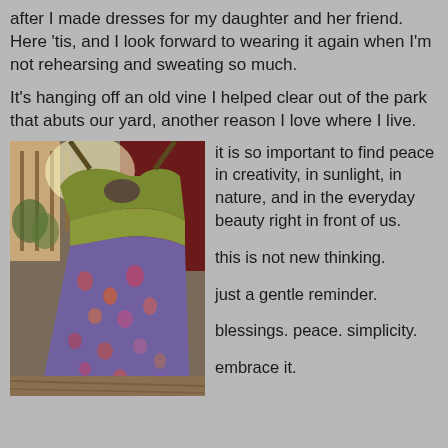after I made dresses for my daughter and her friend. Here 'tis, and I look forward to wearing it again when I'm not rehearsing and sweating so much.
It's hanging off an old vine I helped clear out of the park that abuts our yard, another reason I love where I live.
[Figure (photo): A colorful floral/patterned dress hanging on an old vine, photographed outdoors on a deck with trees and railing visible in the background. The dress has a green yoke and a purple/multicolor floral pattern.]
it is so important to find peace in creativity, in sunlight, in nature, and in the everyday beauty right in front of us.

this is not new thinking.

just a gentle reminder.

blessings. peace. simplicity.

embrace it.